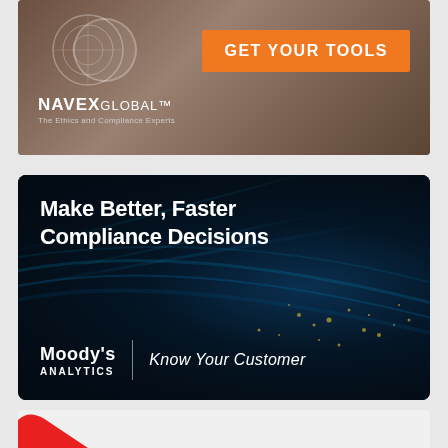[Figure (screenshot): NAVEX Global advertisement banner with orange 'GET YOUR TOOLS' call-to-action button and logo text 'NAVEX GLOBAL - The Ethics and Compliance Experts']
[Figure (screenshot): Moody's Analytics advertisement with dark blue abstract background with light streaks and particles, text 'Make Better, Faster Compliance Decisions', Moody's Analytics logo, and tagline 'Know Your Customer']
[Figure (screenshot): Partial view of a third advertisement showing a red arrow/chevron shape on light background]